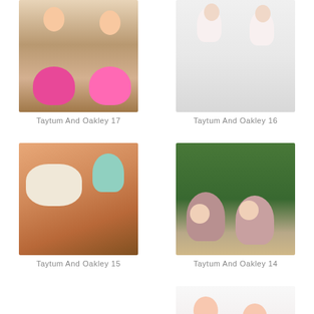[Figure (photo): Two toddlers wearing pink tutus sitting on a wooden deck holding lollipops]
Taytum And Oakley 17
[Figure (photo): Two babies in white outfits sitting together]
Taytum And Oakley 16
[Figure (photo): Baby with pink headband kissing a puppy against peach background]
Taytum And Oakley 15
[Figure (photo): Two baby girls in mauve/dusty rose outfits with bow headbands sitting outdoors]
Taytum And Oakley 14
[Figure (photo): Two smiling baby girls with headbands against white background, partially visible at bottom of page]